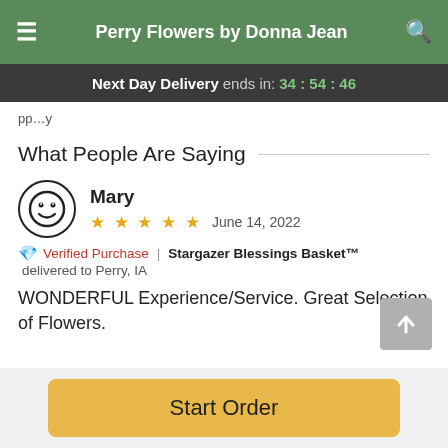Perry Flowers by Donna Jean
Next Day Delivery ends in: 34:54:46
What People Are Saying
Mary
★★★★★  June 14, 2022
🎁 Verified Purchase | Stargazer Blessings Basket™ delivered to Perry, IA
WONDERFUL Experience/Service. Great Selection of Flowers.
Start Order